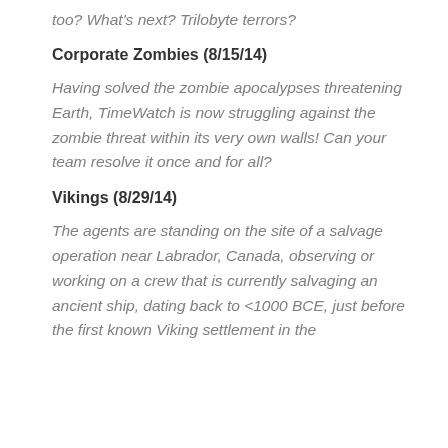too? What's next? Trilobyte terrors?
Corporate Zombies (8/15/14)
Having solved the zombie apocalypses threatening Earth, TimeWatch is now struggling against the zombie threat within its very own walls! Can your team resolve it once and for all?
Vikings (8/29/14)
The agents are standing on the site of a salvage operation near Labrador, Canada, observing or working on a crew that is currently salvaging an ancient ship, dating back to <1000 BCE, just before the first known Viking settlement in the Americas. As the excavation lifts many of the